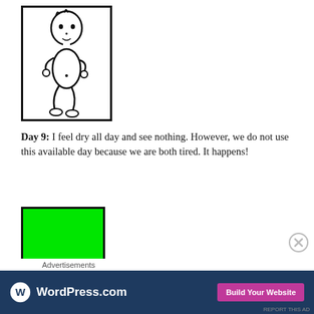[Figure (illustration): Hand-drawn black and white illustration of a small human figure (baby/cherub) inside a bordered rectangle, standing in a dynamic pose with arms and legs extended.]
Day 9: I feel dry all day and see nothing. However, we do not use this available day because we are both tired. It happens!
[Figure (other): A bright green rectangle with a thick black border, partially visible.]
[Figure (other): A circular close/dismiss button with an X symbol.]
Advertisements
[Figure (other): WordPress.com advertisement banner with logo on blue background and pink 'Build Your Website' button.]